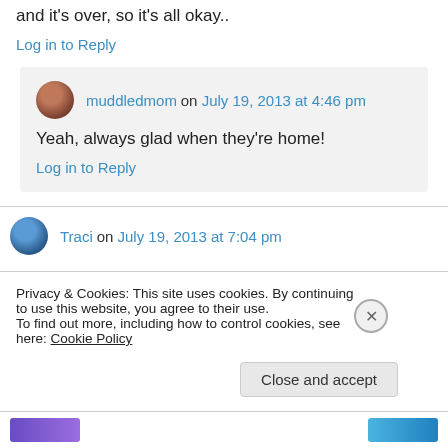and it's over, so it's all okay..
Log in to Reply
muddledmom on July 19, 2013 at 4:46 pm
Yeah, always glad when they're home!
Log in to Reply
Traci on July 19, 2013 at 7:04 pm
Privacy & Cookies: This site uses cookies. By continuing to use this website, you agree to their use.
To find out more, including how to control cookies, see here: Cookie Policy
Close and accept